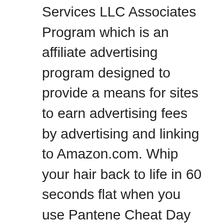Services LLC Associates Program which is an affiliate advertising program designed to provide a means for sites to earn advertising fees by advertising and linking to Amazon.com. Whip your hair back to life in 60 seconds flat when you use Pantene Cheat Day Dry Shampoo Foam. Living Proof Hair Day Dry Shampoo 92ml X 2 Duo Fast Despatch. Your twisty locks will soak up this moisturising formula and bounce right back into shape. Find helpful customer reviews and review ratings for Pantene Dry Shampoo Foam, Sulfate Free, Dry Conditioner and No Cruch Hairspray, Pro-V Cheat Day, Mist Behaving at Amazon.com. Pantene. Pantene Curl Affair Curl (Re)Shaping Cream Styling Product. £8.95 New. 7. Apart from being healthier and preventing buildup, the absence of residue also results in shinier, more bouncy hair. Something that we consider to be very relevant for this Pantene dry shampoo review is